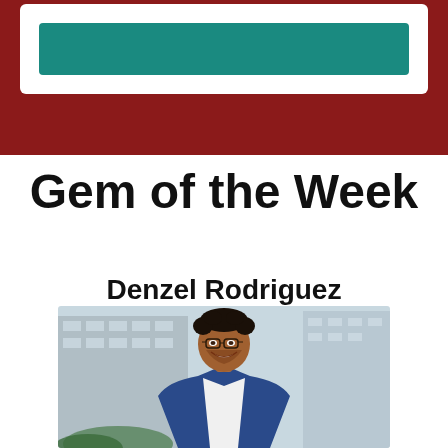[Figure (photo): Top section with dark red/maroon background containing a white card with a teal bar inside]
Gem of the Week
Denzel Rodriguez
[Figure (photo): Professional headshot of Denzel Rodriguez, a young man with curly hair and glasses, smiling, wearing a blue blazer and white shirt, with a blurred modern building in the background]